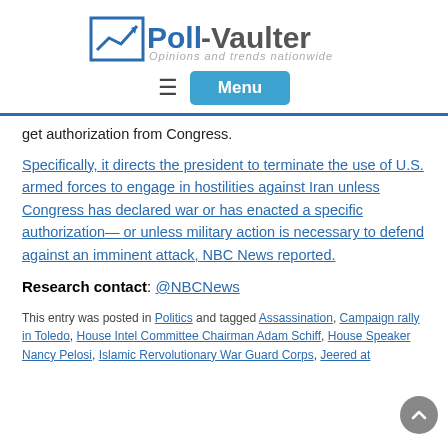[Figure (logo): Poll-Vaulter logo with upward arrow chart icon and tagline 'Opinions and trends nationwide']
[Figure (other): Hamburger menu icon and blue Menu button]
get authorization from Congress.
Specifically, it directs the president to terminate the use of U.S. armed forces to engage in hostilities against Iran unless Congress has declared war or has enacted a specific authorization— or unless military action is necessary to defend against an imminent attack, NBC News reported.
Research contact: @NBCNews
This entry was posted in Politics and tagged Assassination, Campaign rally in Toledo, House Intel Committee Chairman Adam Schiff, House Speaker Nancy Pelosi, Islamic Rervolutionary War Guard Corps, Jeered at